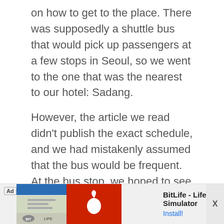on how to get to the place. There was supposedly a shuttle bus that would pick up passengers at a few stops in Seoul, so we went to the one that was the nearest to our hotel: Sadang.
However, the article we read didn't publish the exact schedule, and we had mistakenly assumed that the bus would be frequent. At the bus stop, we hoped to see other people with ski gear, but there was none. We sat down anyway and looked out for the shuttle bus.
However, after waiting for over an hour in the
[Figure (other): Advertisement banner for BitLife - Life Simulator app, showing ad badge, app screenshots, red background with sperm icon logo, app name 'BitLife - Life Simulator', and 'Install!' link. Close button 'X' on right.]